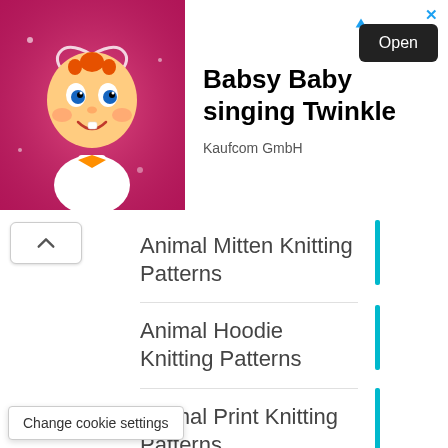[Figure (screenshot): Ad banner with cartoon baby character on pink background, 'Babsy Baby singing Twinkle' text, Kaufcom GmbH label, and Open button]
Animal Mitten Knitting Patterns
Animal Hoodie Knitting Patterns
Animal Print Knitting Patterns
Asymmetric Cardigan Knitting Patterns
Back to Nature Blanket Knitting Patterns
Change cookie settings